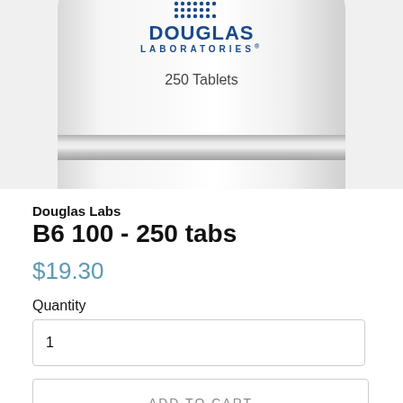[Figure (photo): Product photo of Douglas Laboratories supplement bottle showing 250 Tablets, with silver band around the cap area, white bottle body, and Douglas Laboratories logo at top]
Douglas Labs
B6 100 - 250 tabs
$19.30
Quantity
1
ADD TO CART